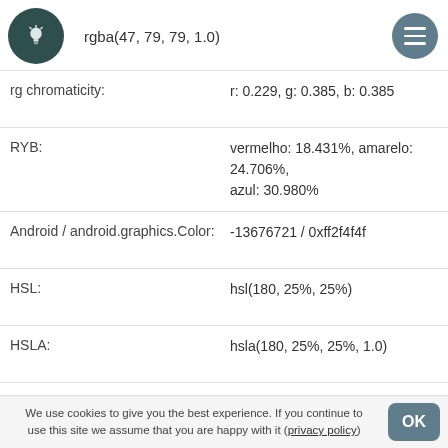RGBA: rgba(47, 79, 79, 1.0)
| Property | Value |
| --- | --- |
| rg chromaticity: | r: 0.229, g: 0.385, b: 0.385 |
| RYB: | vermelho: 18.431%, amarelo: 24.706%, azul: 30.980% |
| Android / android.graphics.Color: | -13676721 / 0xff2f4f4f |
| HSL: | hsl(180, 25%, 25%) |
| HSLA: | hsla(180, 25%, 25%, 1.0) |
| HSV / HSB: | matiz: 180° (180.000), saturação: 41% (0.405), valor: 31% (0.310) |
| HSP: | matiz: 180.000, saturação: 40.506%, brilho percebido: 27.828% |
| HSLuv (HUSL): | H: 192.174, S: 58.640, L: 31.255 |
We use cookies to give you the best experience. If you continue to use this site we assume that you are happy with it (privacy policy)